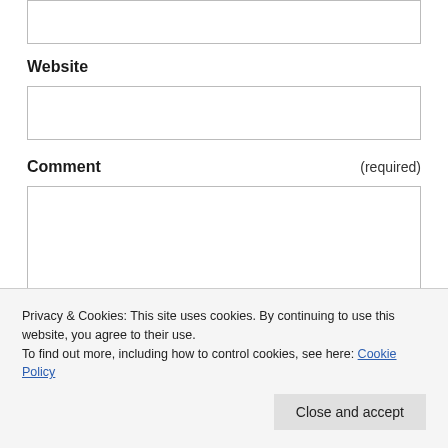(input box — top, partial)
Website
(website input box)
Comment
(required)
(comment textarea)
Privacy & Cookies: This site uses cookies. By continuing to use this website, you agree to their use.
To find out more, including how to control cookies, see here: Cookie Policy
Close and accept